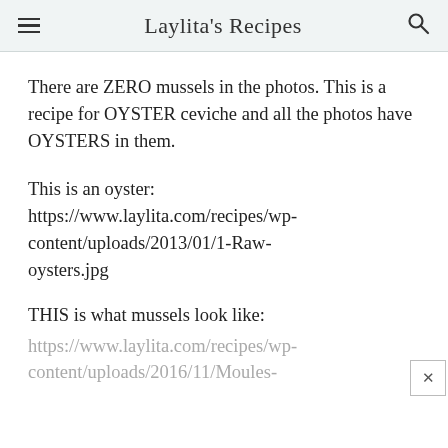Laylita's Recipes
There are ZERO mussels in the photos. This is a recipe for OYSTER ceviche and all the photos have OYSTERS in them.
This is an oyster:
https://www.laylita.com/recipes/wp-content/uploads/2013/01/1-Raw-oysters.jpg
THIS is what mussels look like:
https://www.laylita.com/recipes/wp-content/uploads/2016/11/Moules-